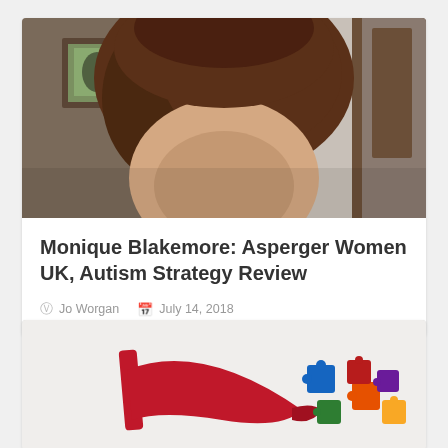[Figure (photo): Blurry close-up photo of a woman with brown hair, indoors, framed picture and curtain visible in background]
Monique Blakemore: Asperger Women UK, Autism Strategy Review
Jo Worgan   July 14, 2018
[Figure (photo): Photo showing a red high-heel shoe with colorful autism puzzle pieces scattered nearby on a white background]